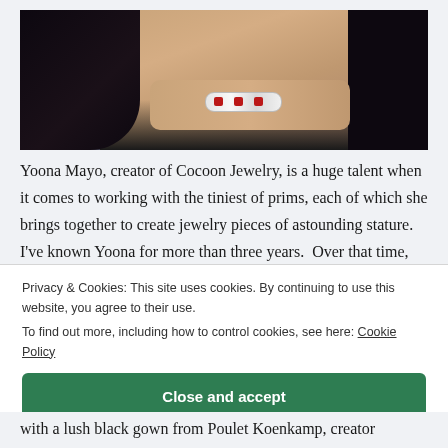[Figure (photo): Close-up photo of a person wearing a bracelet with red gemstones against a dark background, showing skin tones and dark hair.]
Yoona Mayo, creator of Cocoon Jewelry, is a huge talent when it comes to working with the tiniest of prims, each of which she brings together to create jewelry pieces of astounding stature.   I've known Yoona for more than three years.  Over that time, her ability to fashion every little prim into a spectacular ensemble
Privacy & Cookies: This site uses cookies. By continuing to use this website, you agree to their use.
To find out more, including how to control cookies, see here: Cookie Policy
Close and accept
with a lush black gown from Poulet Koenkamp, creator